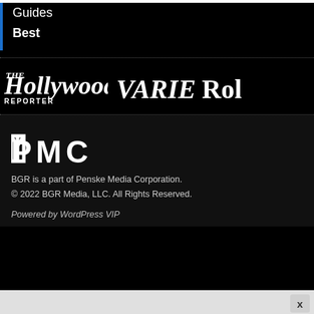Guides
Best
[Figure (logo): The Hollywood Reporter logo in white italic serif font]
[Figure (logo): Variety logo in white italic serif font]
[Figure (logo): Rolling Stone logo (partially visible) in white serif font]
[Figure (logo): PMC (Penske Media Corporation) logo in white block letters]
BGR is a part of Penske Media Corporation.
© 2022 BGR Media, LLC. All Rights Reserved.
Powered by WordPress VIP